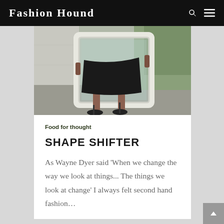Fashion Hound
[Figure (photo): Person in black skirt and strappy heels carrying a large white ornate mirror frame outdoors on a concrete path near a white wall and greenery]
Food for thought
SHAPE SHIFTER
As Wayne Dyer said ‘When we change the way we look at things... The things we look at change’ I always felt second hand fashion…